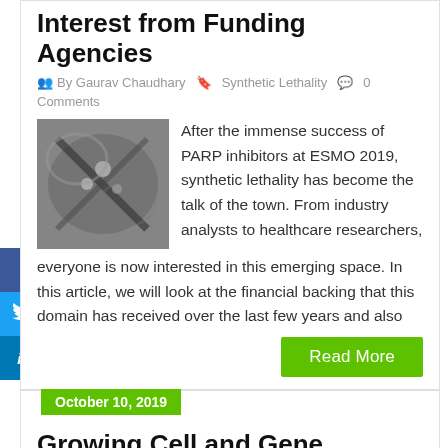Interest from Funding Agencies
By Gaurav Chaudhary  Synthetic Lethality  0 Comments
[Figure (photo): Black and white close-up photo, appears to show a molecular or biological structure]
After the immense success of PARP inhibitors at ESMO 2019, synthetic lethality has become the talk of the town. From industry analysts to healthcare researchers, everyone is now interested in this emerging space. In this article, we will look at the financial backing that this domain has received over the last few years and also
Read More
October 10, 2019
Growing Cell and Gene Therapy Market: Vector Manufacturers Make Merry